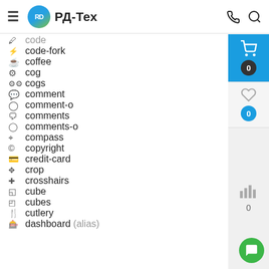РД-Тех
code
code-fork
coffee
cog
cogs
comment
comment-o
comments
comments-o
compass
copyright
credit-card
crop
crosshairs
cube
cubes
cutlery
dashboard (alias)